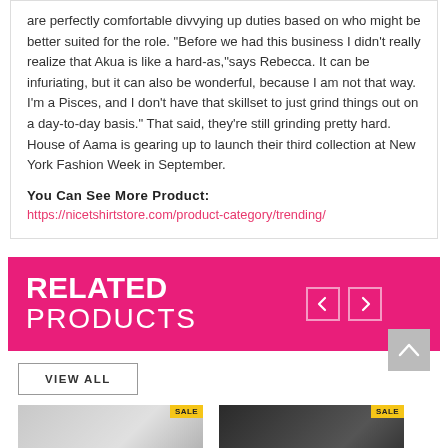are perfectly comfortable divvying up duties based on who might be better suited for the role. "Before we had this business I didn't really realize that Akua is like a hard-as,"says Rebecca. It can be infuriating, but it can also be wonderful, because I am not that way. I'm a Pisces, and I don't have that skillset to just grind things out on a day-to-day basis." That said, they're still grinding pretty hard. House of Aama is gearing up to launch their third collection at New York Fashion Week in September.
You Can See More Product:
https://nicetshirtstore.com/product-category/trending/
RELATED PRODUCTS
VIEW ALL
[Figure (photo): Two product thumbnail images at bottom of page, partially visible, with sale tags]